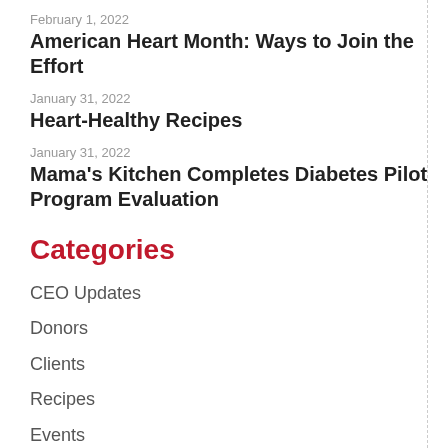February 1, 2022
American Heart Month: Ways to Join the Effort
January 31, 2022
Heart-Healthy Recipes
January 31, 2022
Mama's Kitchen Completes Diabetes Pilot Program Evaluation
Categories
CEO Updates
Donors
Clients
Recipes
Events
Volunteers & Staff
Press Releases
Other